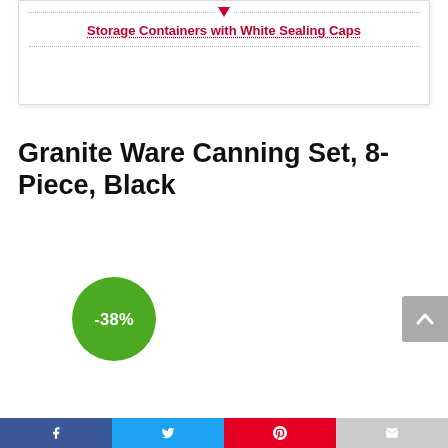[Figure (screenshot): Top card with dotted lines and red link text: 'Storage Containers with White Sealing Caps']
Granite Ware Canning Set, 8-Piece, Black
[Figure (infographic): Green circular discount badge showing '-38%']
[Figure (screenshot): Gray scroll-to-top button with chevron icon on right edge]
Social sharing bar: Facebook, Twitter, Pinterest, Email